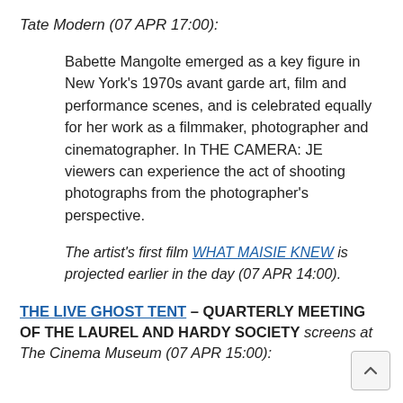Tate Modern (07 APR 17:00):
Babette Mangolte emerged as a key figure in New York's 1970s avant garde art, film and performance scenes, and is celebrated equally for her work as a filmmaker, photographer and cinematographer. In THE CAMERA: JE viewers can experience the act of shooting photographs from the photographer's perspective.
The artist's first film WHAT MAISIE KNEW is projected earlier in the day (07 APR 14:00).
THE LIVE GHOST TENT – QUARTERLY MEETING OF THE LAUREL AND HARDY SOCIETY screens at The Cinema Museum (07 APR 15:00):